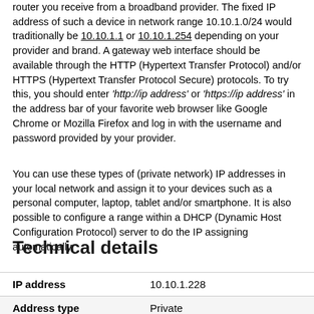router you receive from a broadband provider. The fixed IP address of such a device in network range 10.10.1.0/24 would traditionally be 10.10.1.1 or 10.10.1.254 depending on your provider and brand. A gateway web interface should be available through the HTTP (Hypertext Transfer Protocol) and/or HTTPS (Hypertext Transfer Protocol Secure) protocols. To try this, you should enter 'http://ip address' or 'https://ip address' in the address bar of your favorite web browser like Google Chrome or Mozilla Firefox and log in with the username and password provided by your provider.
You can use these types of (private network) IP addresses in your local network and assign it to your devices such as a personal computer, laptop, tablet and/or smartphone. It is also possible to configure a range within a DHCP (Dynamic Host Configuration Protocol) server to do the IP assigning automatically.
Technical details
| IP address | 10.10.1.228 |
| Address type | Private |
| Protocol version | IPv4 |